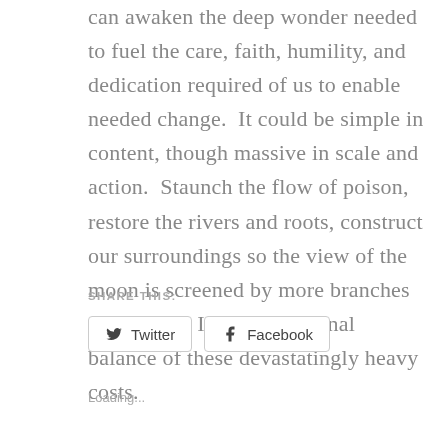can awaken the deep wonder needed to fuel the care, faith, humility, and dedication required of us to enable needed change.  It could be simple in content, though massive in scale and action.  Staunch the flow of poison, restore the rivers and roots, construct our surroundings so the view of the moon is screened by more branches than walls.  Idealism the final balance of these devastatingly heavy costs.
SHARE THIS:
Twitter
Facebook
Loading...